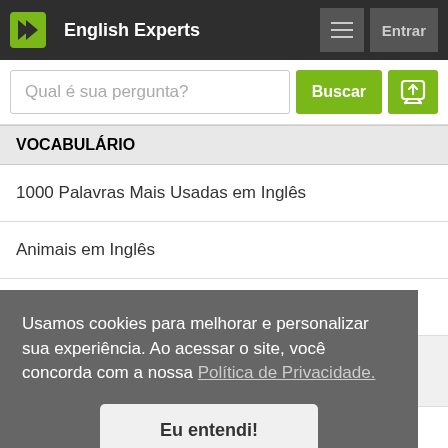English Experts
Qual é sua pergunta?
VOCABULÁRIO
1000 Palavras Mais Usadas em Inglês
Animais em Inglês
Bebidas em inglês
Usamos cookies para melhorar e personalizar sua experiência. Ao acessar o site, você concorda com a nossa Política de Privacidade.
Eu entendi!
Estações do Ano em Inglês